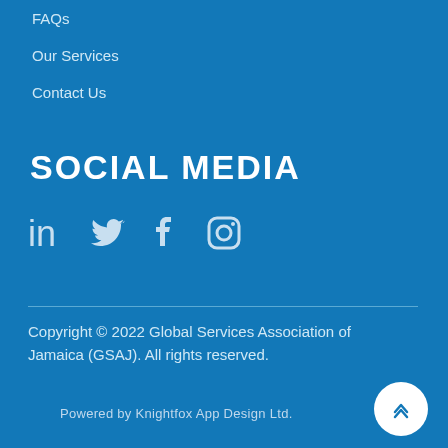FAQs
Our Services
Contact Us
SOCIAL MEDIA
[Figure (illustration): Social media icons: LinkedIn, Twitter, Facebook, Instagram]
Copyright © 2022 Global Services Association of Jamaica (GSAJ). All rights reserved.
Powered by Knightfox App Design Ltd.